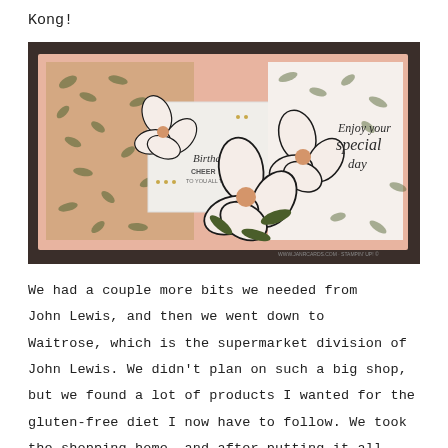Kong!
[Figure (photo): A decorative handmade greeting card with floral magnolia stamped design in pink, green and black. The card has a Z-fold or step structure showing multiple panels. Left panel has leaf-patterned kraft paper background with a stamped magnolia flower and text 'Birthday CHEER TO YOU ALL YEAR'. Right panel shows 'Enjoy your special day' in script lettering with a large magnolia stamp, against a floral patterned background. Salmon/blush pink card base. Watermark: WWW.JANRCARDS.COM - STAMPIN' UP!]
We had a couple more bits we needed from John Lewis, and then we went down to Waitrose, which is the supermarket division of John Lewis. We didn't plan on such a big shop, but we found a lot of products I wanted for the gluten-free diet I now have to follow. We took the shopping home, and after putting it all